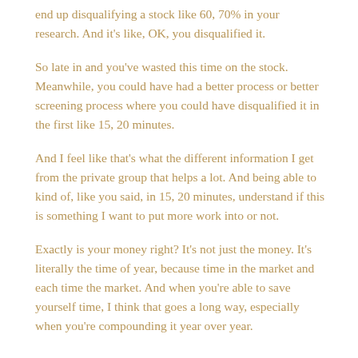end up disqualifying a stock like 60, 70% in your research. And it's like, OK, you disqualified it.
So late in and you've wasted this time on the stock. Meanwhile, you could have had a better process or better screening process where you could have disqualified it in the first like 15, 20 minutes.
And I feel like that's what the different information I get from the private group that helps a lot. And being able to kind of, like you said, in 15, 20 minutes, understand if this is something I want to put more work into or not.
Exactly is your money right? It's not just the money. It's literally the time of year, because time in the market and each time the market. And when you're able to save yourself time, I think that goes a long way, especially when you're compounding it year over year.